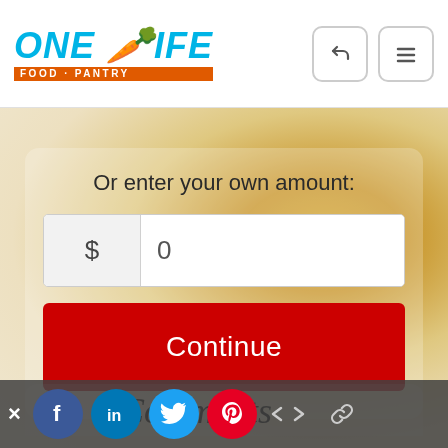ONE LIFE FOOD PANTRY
Or enter your own amount:
$ 0
Continue
Comments